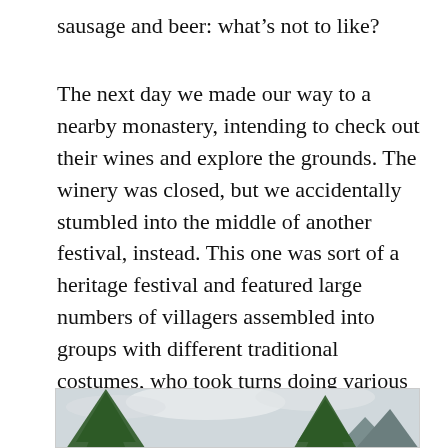sausage and beer: what’s not to like?
The next day we made our way to a nearby monastery, intending to check out their wines and explore the grounds. The winery was closed, but we accidentally stumbled into the middle of another festival, instead. This one was sort of a heritage festival and featured large numbers of villagers assembled into groups with different traditional costumes, who took turns doing various military exercises and then wrapped it up with a parade.
[Figure (photo): Outdoor photo showing trees against a cloudy sky with mountains in the background]